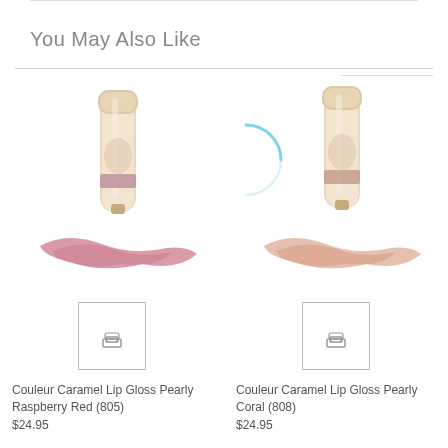You May Also Like
[Figure (photo): Couleur Caramel Lip Gloss Pearly Raspberry Red (805) - product tube with lip gloss swatch in pink-raspberry tone]
Couleur Caramel Lip Gloss Pearly Raspberry Red (805)
$24.95
[Figure (photo): Couleur Caramel Lip Gloss Pearly Coral (808) - product tube with lip gloss swatch in coral/nude tone, with loading spinner overlay]
Couleur Caramel Lip Gloss Pearly Coral (808)
$24.95